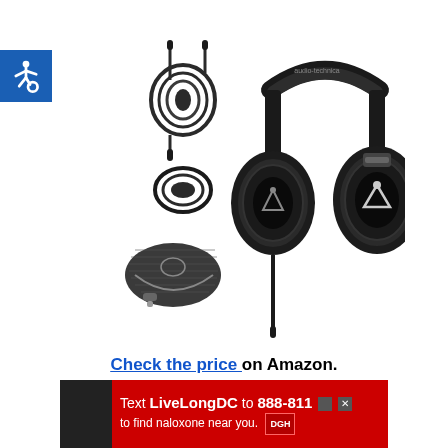[Figure (logo): Blue square accessibility icon with wheelchair symbol in white]
[Figure (photo): Audio-Technica ATH-M50x professional studio monitor headphones in black, shown with coiled cable, straight cable, and carrying case accessories]
Check the price on Amazon.
[Figure (other): Red advertisement banner: Text LiveLongDC to 888-811 to find naloxone near you.]